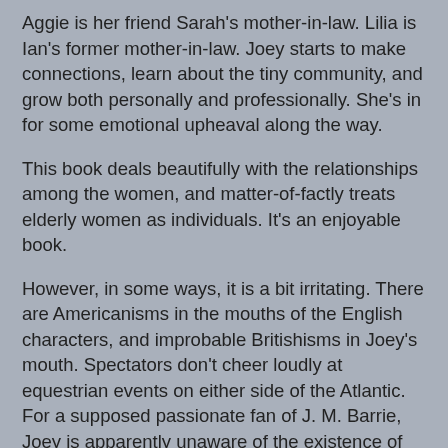Aggie is her friend Sarah's mother-in-law. Lilia is Ian's former mother-in-law. Joey starts to make connections, learn about the tiny community, and grow both personally and professionally. She's in for some emotional upheaval along the way.
This book deals beautifully with the relationships among the women, and matter-of-factly treats elderly women as individuals. It's an enjoyable book.
However, in some ways, it is a bit irritating. There are Americanisms in the mouths of the English characters, and improbable Britishisms in Joey's mouth. Spectators don't cheer loudly at equestrian events on either side of the Atlantic. For a supposed passionate fan of J. M. Barrie, Joey is apparently unaware of the existence of the Peter Pan statue in Kensington Garden, and Zitwer never mentions its existence in the course of the book.
Research, research, research. It's a writer's stock in trade as much as a good and graceful command of the English language.